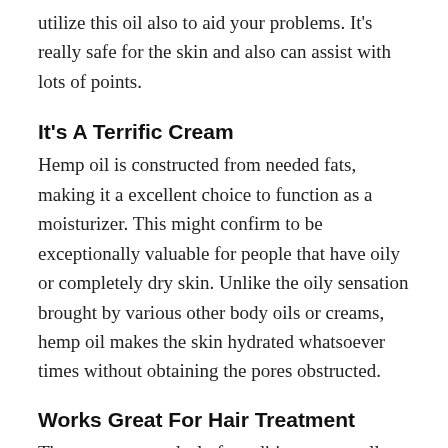utilize this oil also to aid your problems. It's really safe for the skin and also can assist with lots of points.
It's A Terrific Cream
Hemp oil is constructed from needed fats, making it a excellent choice to function as a moisturizer. This might confirm to be exceptionally valuable for people that have oily or completely dry skin. Unlike the oily sensation brought by various other body oils or creams, hemp oil makes the skin hydrated whatsoever times without obtaining the pores obstructed.
Works Great For Hair Treatment
There are a great deal of conditioners as well as shampoos today include hemp oil. This is due to the fact that it includes a much of conditioning nutrients. These